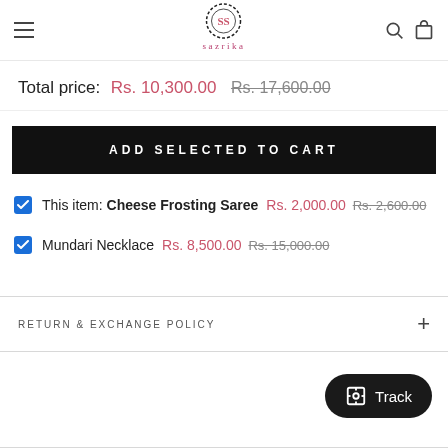[Figure (logo): Sazrika brand logo with circular emblem and stylized text]
Total price: Rs. 10,300.00  Rs. 17,600.00
ADD SELECTED TO CART
This item: Cheese Frosting Saree  Rs. 2,000.00  Rs. 2,600.00
Mundari Necklace  Rs. 8,500.00  Rs. 15,000.00
RETURN & EXCHANGE POLICY